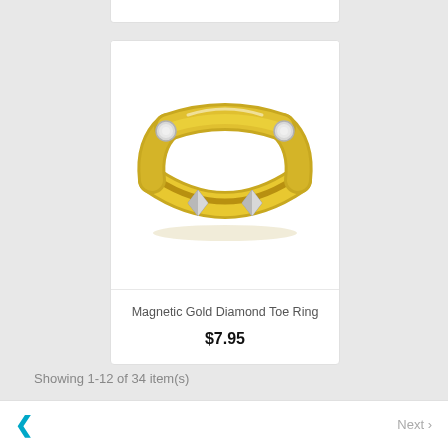[Figure (photo): A gold open-band toe ring with two silver diamond-shaped inlays and small round magnetic elements at the band ends, photographed on a white background.]
Magnetic Gold Diamond Toe Ring
$7.95
Showing 1-12 of 34 item(s)